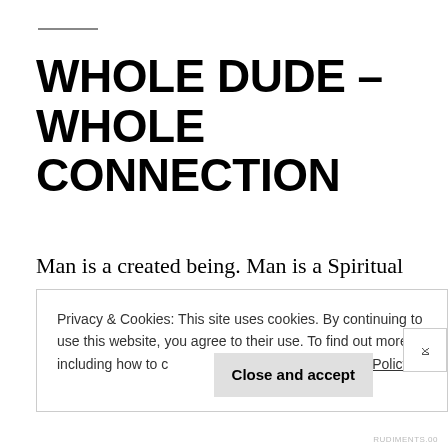WHOLE DUDE – WHOLE CONNECTION
Man is a created being. Man is a Spiritual being which displays man's humanity, moral nature, individuality, and consciousness.
Privacy & Cookies: This site uses cookies. By continuing to use this website, you agree to their use. To find out more, including how to control cookies, see here: Cookie Policy